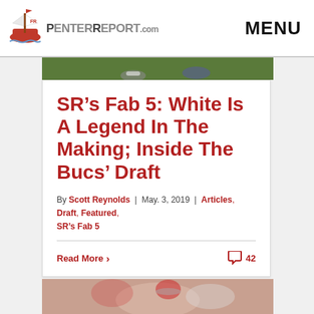PenterReport.com  MENU
[Figure (photo): Partial photo of football field or player shoes on grass, cropped at top]
SR’s Fab 5: White Is A Legend In The Making; Inside The Bucs’ Draft
By Scott Reynolds | May. 3, 2019 | Articles, Draft, Featured, SR’s Fab 5
Read More  42
[Figure (photo): Partial photo of football player or game action, cropped at bottom]